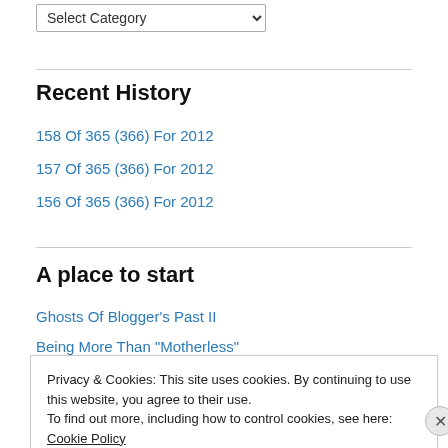Select Category
Recent History
158 Of 365 (366) For 2012
157 Of 365 (366) For 2012
156 Of 365 (366) For 2012
A place to start
Ghosts Of Blogger's Past II
Being More Than "Motherless"
Privacy & Cookies: This site uses cookies. By continuing to use this website, you agree to their use.
To find out more, including how to control cookies, see here: Cookie Policy
Close and accept